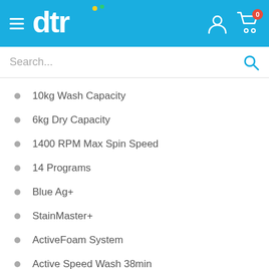dtr
10kg Wash Capacity
6kg Dry Capacity
1400 RPM Max Spin Speed
14 Programs
Blue Ag+
StainMaster+
ActiveFoam System
Active Speed Wash 38min
3D Sensor
500Wh